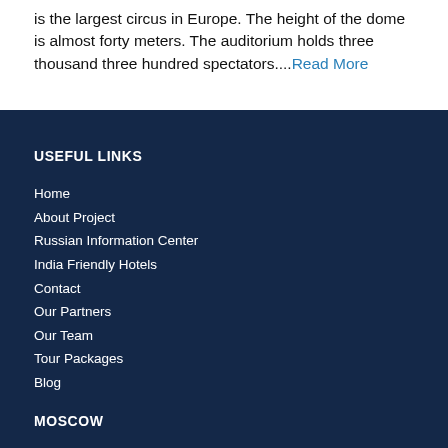is the largest circus in Europe. The height of the dome is almost forty meters. The auditorium holds three thousand three hundred spectators....Read More
USEFUL LINKS
Home
About Project
Russian Information Center
India Friendly Hotels
Contact
Our Partners
Our Team
Tour Packages
Blog
MOSCOW